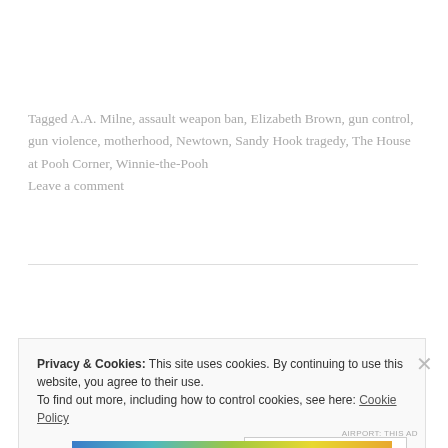Tagged A.A. Milne, assault weapon ban, Elizabeth Brown, gun control, gun violence, motherhood, Newtown, Sandy Hook tragedy, The House at Pooh Corner, Winnie-the-Pooh Leave a comment
Privacy & Cookies: This site uses cookies. By continuing to use this website, you agree to their use. To find out more, including how to control cookies, see here: Cookie Policy
Close and accept